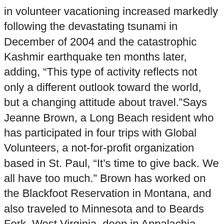in volunteer vacationing increased markedly following the devastating tsunami in December of 2004 and the catastrophic Kashmir earthquake ten months later, adding, “This type of activity reflects not only a different outlook toward the world, but a changing attitude about travel.”Says Jeanne Brown, a Long Beach resident who has participated in four trips with Global Volunteers, a not-for-profit organization based in St. Paul, “It’s time to give back. We all have too much.” Brown has worked on the Blackfoot Reservation in Montana, and also traveled to Minnesota and to Beards Fork, West Virginia, deep in Appalachia, where she and others on her trip helped a coal-mining community build and repair homes.
“It’s a test of yourself—to see who you can get along with, and what really bothers you, and what’s really important,” Brown says.
Trip Roster